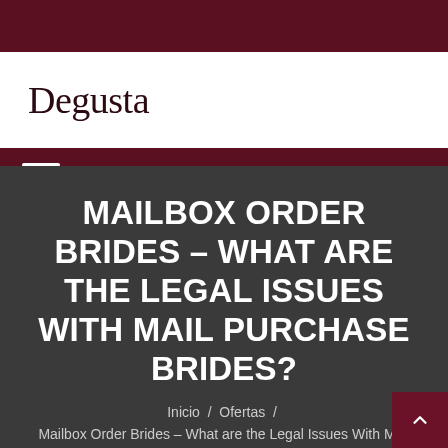Degusta
MAILBOX ORDER BRIDES – WHAT ARE THE LEGAL ISSUES WITH MAIL PURCHASE BRIDES?
Inicio / Ofertas / Mailbox Order Brides – What are the Legal Issues With Mail Purchase Brides?